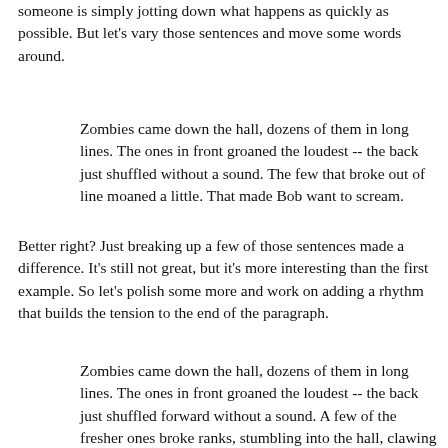someone is simply jotting down what happens as quickly as possible. But let's vary those sentences and move some words around.
Zombies came down the hall, dozens of them in long lines. The ones in front groaned the loudest -- the back just shuffled without a sound. The few that broke out of line moaned a little. That made Bob want to scream.
Better right? Just breaking up a few of those sentences made a difference. It's still not great, but it's more interesting than the first example. So let's polish some more and work on adding a rhythm that builds the tension to the end of the paragraph.
Zombies came down the hall, dozens of them in long lines. The ones in front groaned the loudest -- the back just shuffled forward without a sound. A few of the fresher ones broke ranks, stumbling into the hall, clawing at the posters, the walls, the lockers, looking for something. Or someone? They moaned, just a little. Bob swallowed his